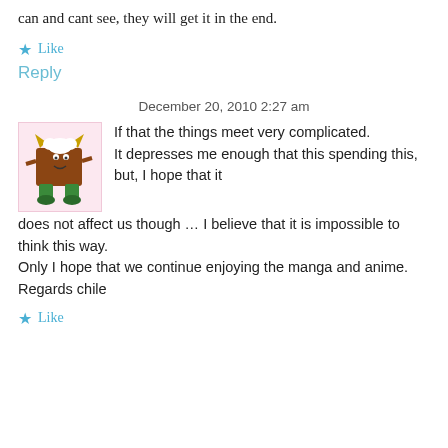can and cant see, they will get it in the end.
★ Like
Reply
December 20, 2010 2:27 am
[Figure (illustration): Cartoon monster character: brown square body with green legs and yellow horns, pink background box]
If that the things meet very complicated.
It depresses me enough that this spending this, but, I hope that it does not affect us though … I believe that it is impossible to think this way.
Only I hope that we continue enjoying the manga and anime.
Regards chile
★ Like